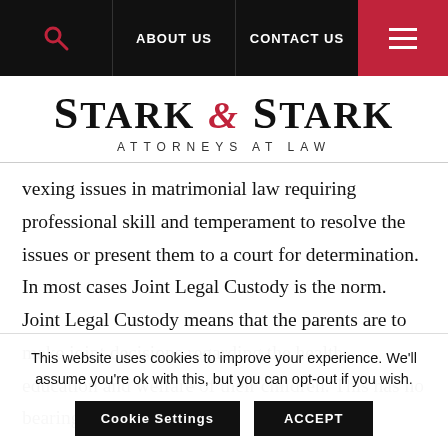ABOUT US | CONTACT US
Stark & Stark Attorneys at Law
vexing issues in matrimonial law requiring professional skill and temperament to resolve the issues or present them to a court for determination. In most cases Joint Legal Custody is the norm. Joint Legal Custody means that the parents are to make joint decisions regarding the health, education and welfare of their children. This has no bearing on where the
This website uses cookies to improve your experience. We'll assume you're ok with this, but you can opt-out if you wish.
Cookie Settings | ACCEPT